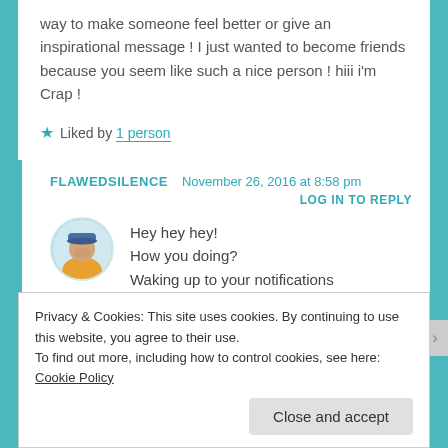way to make someone feel better or give an inspirational message ! I just wanted to become friends because you seem like such a nice person ! hiii i'm Crap !
★ Liked by 1 person
FLAWEDSILENCE  November 26, 2016 at 8:58 pm
LOG IN TO REPLY
[Figure (photo): Circular avatar photo of a person wearing a blue hat and yellow jacket]
Hey hey hey!
How you doing?
Waking up to your notifications
Privacy & Cookies: This site uses cookies. By continuing to use this website, you agree to their use.
To find out more, including how to control cookies, see here: Cookie Policy
Close and accept